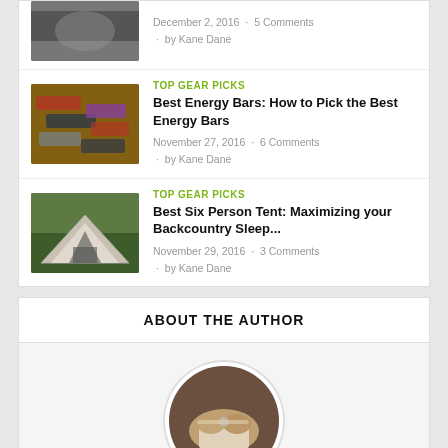[Figure (photo): Partial article thumbnail at top, hands holding object, partially cropped]
December 2, 2016 · 5 Comments · by Kane Dane
TOP GEAR PICKS
Best Energy Bars: How to Pick the Best Energy Bars
November 27, 2016 · 6 Comments · by Kane Dane
[Figure (photo): Energy bars piled together, various brands and wrappers]
TOP GEAR PICKS
Best Six Person Tent: Maximizing your Backcountry Sleep...
November 29, 2016 · 3 Comments · by Kane Dane
[Figure (photo): Six person tent set up outdoors in nature]
ABOUT THE AUTHOR
[Figure (photo): Circular author photo showing hands writing or holding paper]